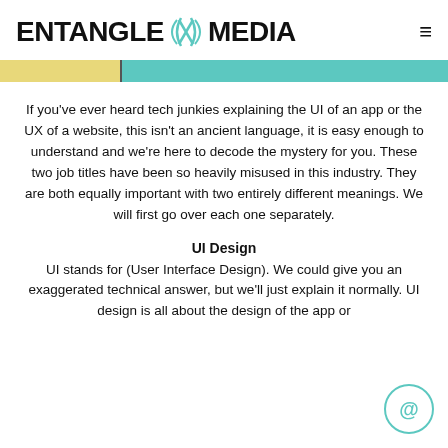ENTANGLE MEDIA
[Figure (infographic): A horizontal progress/loading bar split into two segments: a yellow/gold segment on the left and a teal/cyan segment on the right, separated by a thin dark vertical divider line.]
If you've ever heard tech junkies explaining the UI of an app or the UX of a website, this isn't an ancient language, it is easy enough to understand and we're here to decode the mystery for you. These two job titles have been so heavily misused in this industry. They are both equally important with two entirely different meanings. We will first go over each one separately.
UI Design
UI stands for (User Interface Design). We could give you an exaggerated technical answer, but we'll just explain it normally. UI design is all about the design of the app or